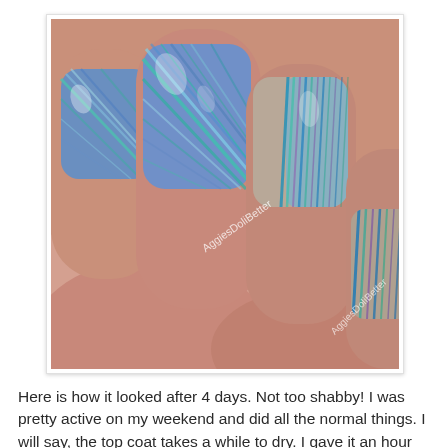[Figure (photo): Close-up photograph of a hand with water marble nail art in blue, teal, and purple swirling stripe patterns on multiple fingernails, with a watermark reading 'AggiesDoliBetter' visible twice on the image.]
Here is how it looked after 4 days. Not too shabby! I was pretty active on my weekend and did all the normal things. I will say, the top coat takes a while to dry. I gave it an hour and then I had to get on with my life. It was still dentable but then smooth out-able if that makes sense!